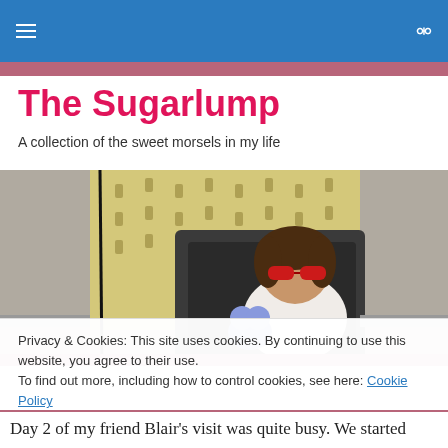The Sugarlump — navigation bar with hamburger menu and search icon
The Sugarlump
A collection of the sweet morsels in my life
[Figure (photo): Vintage photo of a young child wearing large red-framed sunglasses, seated in a chair, with a patterned yellow fabric backdrop. A stuffed animal toy is visible in their lap.]
Privacy & Cookies: This site uses cookies. By continuing to use this website, you agree to their use.
To find out more, including how to control cookies, see here: Cookie Policy
Day 2 of my friend Blair's visit was quite busy.  We started